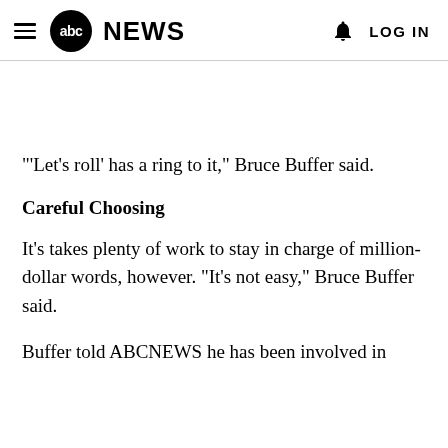abc NEWS  LOG IN
"'Let's roll' has a ring to it," Bruce Buffer said.
Careful Choosing
It's takes plenty of work to stay in charge of million-dollar words, however. "It's not easy," Bruce Buffer said.
Buffer told ABCNEWS he has been involved in